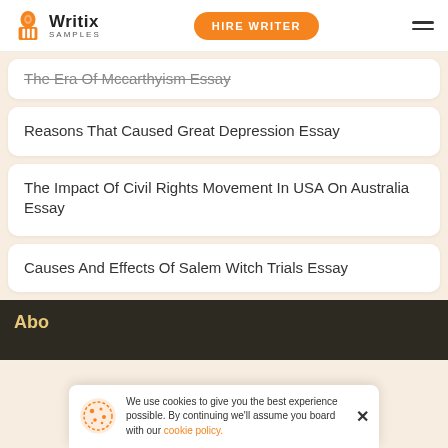Writix Samples | HIRE WRITER
The Era Of Mccarthyism Essay
Reasons That Caused Great Depression Essay
The Impact Of Civil Rights Movement In USA On Australia Essay
Causes And Effects Of Salem Witch Trials Essay
About
We use cookies to give you the best experience possible. By continuing we'll assume you board with our cookie policy.